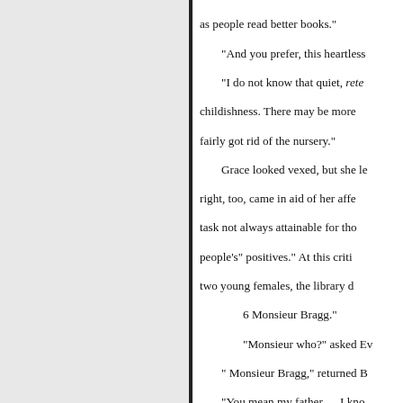as people read better books."

"And you prefer, this heartless

"I do not know that quiet, rete childishness. There may be more fairly got rid of the nursery."

Grace looked vexed, but she le right, too, came in aid of her affe task not always attainable for tho people's" positives." At this criti two young females, the library d

6 Monsieur Bragg."
"Monsieur who?" asked Ev

" Monsieur Bragg," returned B

"You mean my father,— I kno

"He inquired first for Monsieu of seeing Mademoiselle."

" Is it what they call a person in

"He has the air, Mademoiselle judging."